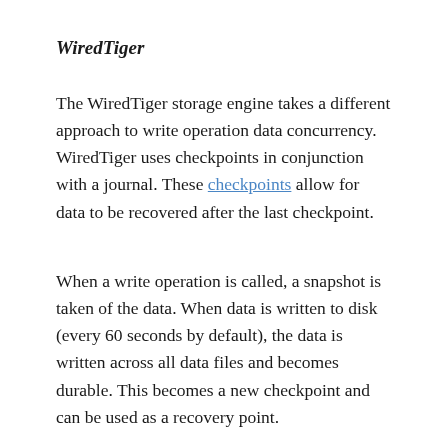WiredTiger
The WiredTiger storage engine takes a different approach to write operation data concurrency. WiredTiger uses checkpoints in conjunction with a journal. These checkpoints allow for data to be recovered after the last checkpoint.
When a write operation is called, a snapshot is taken of the data. When data is written to disk (every 60 seconds by default), the data is written across all data files and becomes durable. This becomes a new checkpoint and can be used as a recovery point.